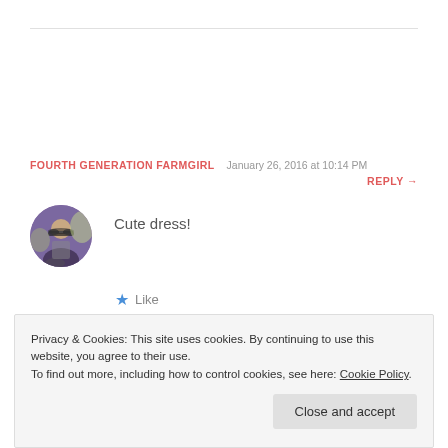FOURTH GENERATION FARMGIRL   January 26, 2016 at 10:14 PM
REPLY →
[Figure (photo): Circular avatar photo of a person with sunglasses in front of a purple lavender field background]
Cute dress!
★ Like
Privacy & Cookies: This site uses cookies. By continuing to use this website, you agree to their use.
To find out more, including how to control cookies, see here: Cookie Policy
Close and accept